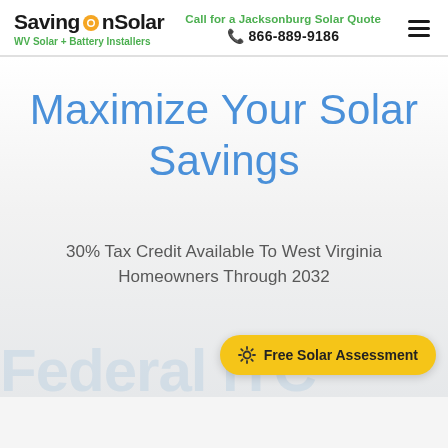SavingOnSolar — WV Solar + Battery Installers | Call for a Jacksonburg Solar Quote | 866-889-9186
Maximize Your Solar Savings
30% Tax Credit Available To West Virginia Homeowners Through 2032
Federal ITC...
Free Solar Assessment